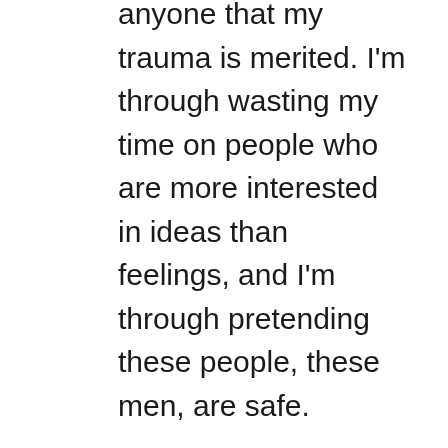anyone that my trauma is merited. I'm through wasting my time on people who are more interested in ideas than feelings, and I'm through pretending these people, these men, are safe.

I love my sons, and I love some individual men. It pains me to say that I don't feel emotionally safe with them, and perhaps